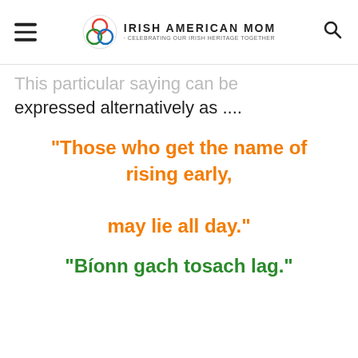Irish American Mom · Celebrating Our Irish Heritage Together
This particular saying can be expressed alternatively as ....
“Those who get the name of rising early, may lie all day.”
“Bíonn gach tosach lag.”